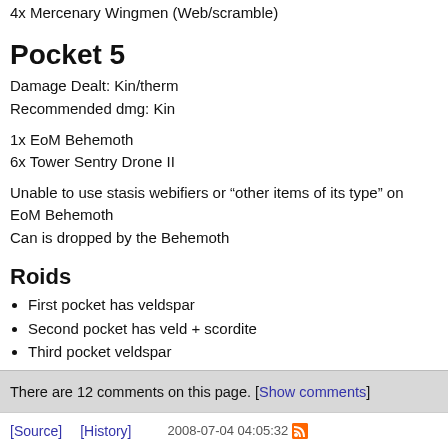4x Mercenary Wingmen (Web/scramble)
Pocket 5
Damage Dealt: Kin/therm
Recommended dmg: Kin
1x EoM Behemoth
6x Tower Sentry Drone II
Unable to use stasis webifiers or "other items of its type" on EoM Behemoth
Can is dropped by the Behemoth
Roids
First pocket has veldspar
Second pocket has veld + scordite
Third pocket veldspar
Fourth pocket omber + veld
There are 12 comments on this page. [Show comments]
[Source]    [History]    2008-07-04 04:05:32